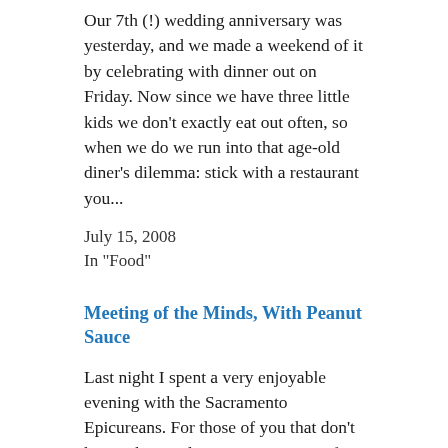Our 7th (!) wedding anniversary was yesterday, and we made a weekend of it by celebrating with dinner out on Friday. Now since we have three little kids we don't exactly eat out often, so when we do we run into that age-old diner's dilemma: stick with a restaurant you...
July 15, 2008
In "Food"
Meeting of the Minds, With Peanut Sauce
Last night I spent a very enjoyable evening with the Sacramento Epicureans. For those of you that don't know, the word "epicurean" comes from the Greek "epi," meaning "on" or "kind of near but not exactly right next to," and "curean" which is from the Latin for
February 10, 2007
In "Food"
Eve's Market– The Grocer That Saved Carmichael?